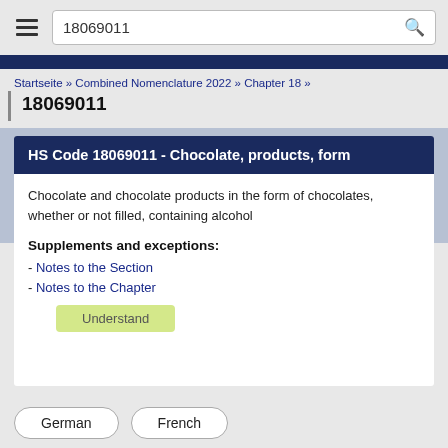18069011
Startseite » Combined Nomenclature 2022 » Chapter 18 »
18069011
HS Code 18069011 - Chocolate, products, form
Chocolate and chocolate products in the form of chocolates, whether or not filled, containing alcohol
Supplements and exceptions:
- Notes to the Section
- Notes to the Chapter
We use cookies to provide, manage and improve services and advertising. The use of our services is also analyzed by some of our partners to display personalized advertising. In addition, fonts are reloaded by some third-party providers for better display. This means that your IP address is transmitted. By continuing to use our site, you consent to this. Show more.
German
French